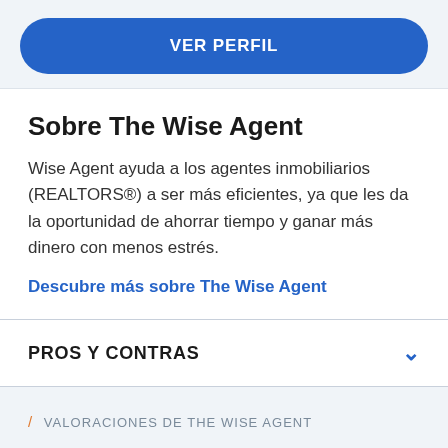[Figure (other): Blue rounded button labeled VER PERFIL]
Sobre The Wise Agent
Wise Agent ayuda a los agentes inmobiliarios (REALTORS®) a ser más eficientes, ya que les da la oportunidad de ahorrar tiempo y ganar más dinero con menos estrés.
Descubre más sobre The Wise Agent
PROS Y CONTRAS
/ VALORACIONES DE THE WISE AGENT
Evaluación media